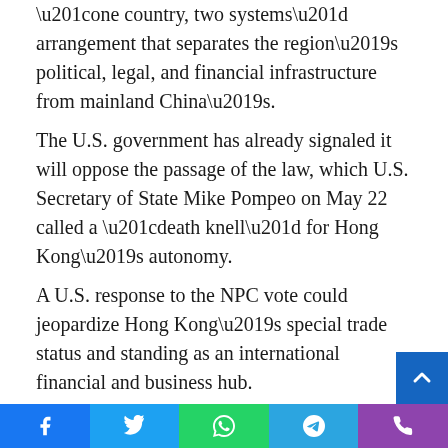“one country, two systems” arrangement that separates the region’s political, legal, and financial infrastructure from mainland China’s.
The U.S. government has already signaled it will oppose the passage of the law, which U.S. Secretary of State Mike Pompeo on May 22 called a “death knell” for Hong Kong’s autonomy.
A U.S. response to the NPC vote could jeopardize Hong Kong’s special trade status and standing as an international financial and business hub.
The U.S. response
On Wednesday, Secretary of State Mike Pompeo said the State Department no longer